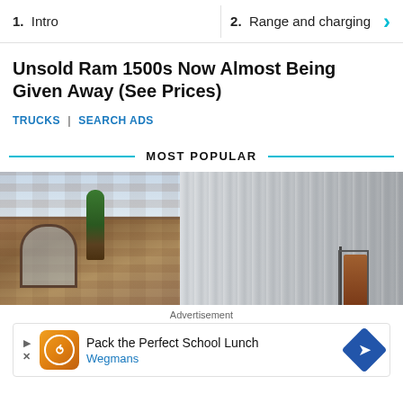1. Intro   2. Range and charging
Unsold Ram 1500s Now Almost Being Given Away (See Prices)
TRUCKS | SEARCH ADS
MOST POPULAR
[Figure (photo): Photo of a brick building with arched windows and a tree next to a modern corrugated metal facade with a brown door]
Advertisement
Pack the Perfect School Lunch  Wegmans